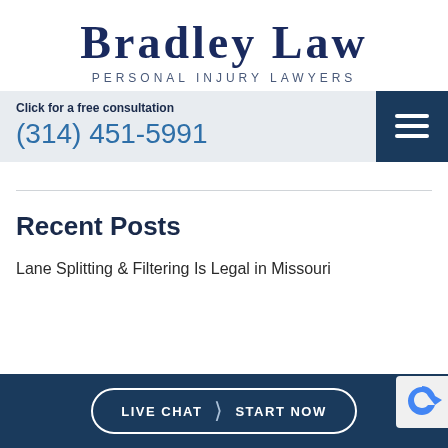BRADLEY LAW
PERSONAL INJURY LAWYERS
Click for a free consultation
(314) 451-5991
Recent Posts
Lane Splitting & Filtering Is Legal in Missouri
LIVE CHAT  START NOW